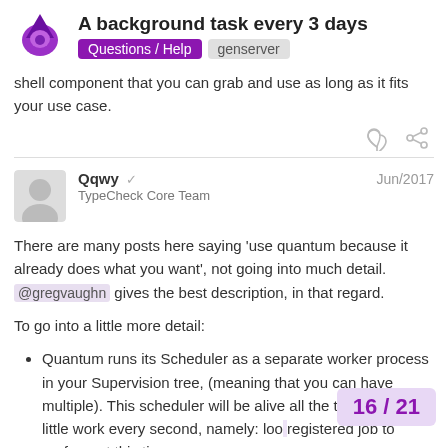A background task every 3 days | Questions / Help | genserver
shell component that you can grab and use as long as it fits your use case.
Qqwy ✓  TypeCheck Core Team  Jun/2017
There are many posts here saying 'use quantum because it already does what you want', not going into much detail. @gregvaughn gives the best description, in that regard.
To go into a little more detail:
Quantum runs its Scheduler as a separate worker process in your Supervision tree, (meaning that you can have multiple). This scheduler will be alive all the time, and do a little work every second, namely: looking if there is a registered job to perform at this time. extra work: to ensure that jobs are...